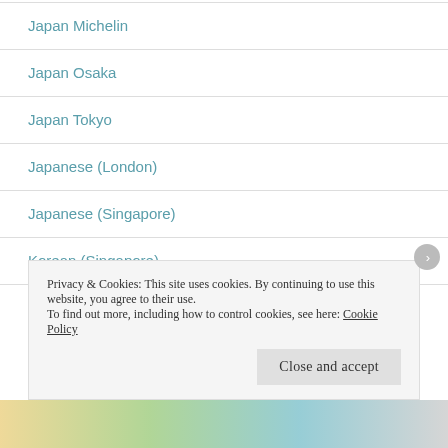Japan Michelin
Japan Osaka
Japan Tokyo
Japanese (London)
Japanese (Singapore)
Korean (Singapore)
Privacy & Cookies: This site uses cookies. By continuing to use this website, you agree to their use.
To find out more, including how to control cookies, see here: Cookie Policy
Close and accept